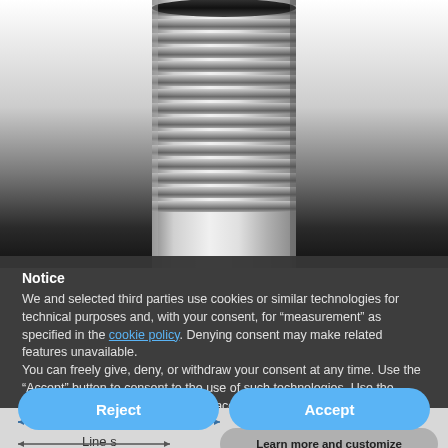[Figure (photo): Close-up photo of a threaded metal bolt/fitting with black O-ring seal at the top, showing metallic threading detail on a white to dark gradient background.]
Notice
We and selected third parties use cookies or similar technologies for technical purposes and, with your consent, for “measurement” as specified in the cookie policy. Denying consent may make related features unavailable.
You can freely give, deny, or withdraw your consent at any time. Use the “Accept” button to consent to the use of such technologies. Use the “Reject” button to continue without accepting.
Reject
Accept
[Figure (engineering-diagram): Diagram showing HEX size and Line size labels with arrows indicating measurement dimensions of a bolt/fitting.]
Learn more and customize